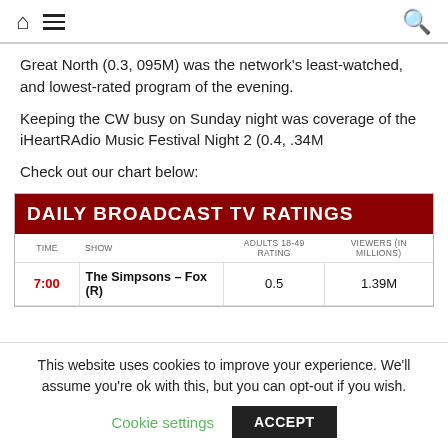Home menu search
Great North (0.3, 095M) was the network’s least-watched, and lowest-rated program of the evening.
Keeping the CW busy on Sunday night was coverage of the iHeartRAdio Music Festival Night 2 (0.4, .34M
Check out our chart below:
| TIME | SHOW | ADULTS 18-49 RATING | VIEWERS (IN MILLIONS) |
| --- | --- | --- | --- |
| 7:00 | The Simpsons – Fox (R) | 0.5 | 1.39M |
This website uses cookies to improve your experience. We’ll assume you’re ok with this, but you can opt-out if you wish.
Cookie settings   ACCEPT